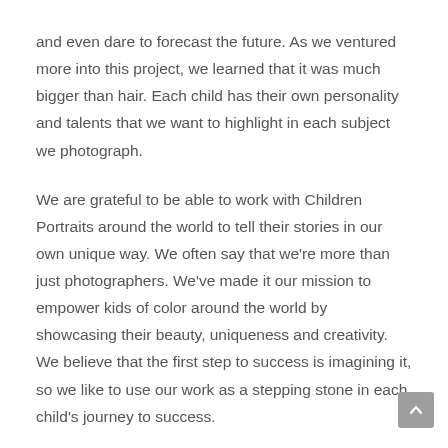and even dare to forecast the future. As we ventured more into this project, we learned that it was much bigger than hair. Each child has their own personality and talents that we want to highlight in each subject we photograph.
We are grateful to be able to work with Children Portraits around the world to tell their stories in our own unique way. We often say that we're more than just photographers. We've made it our mission to empower kids of color around the world by showcasing their beauty, uniqueness and creativity. We believe that the first step to success is imagining it, so we like to use our work as a stepping stone in each child's journey to success.